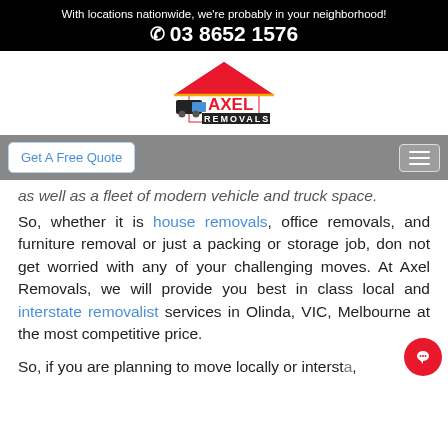With locations nationwide, we're probably in your neighborhood!
☎ 03 8652 1576
[Figure (logo): Axel Removals logo with red house roof, black truck, and company name]
Get A Free Quote
as well as a fleet of modern vehicle and truck space.
So, whether it is house removals, office removals, and furniture removal or just a packing or storage job, don not get worried with any of your challenging moves. At Axel Removals, we will provide you best in class local and interstate removalist services in Olinda, VIC, Melbourne at the most competitive price.
So, if you are planning to move locally or interstate,